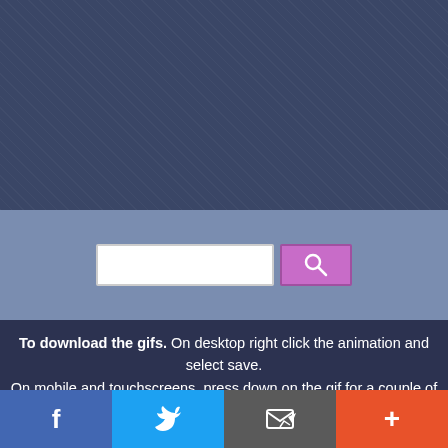[Figure (screenshot): Dark blue textured background section at the top of the page]
[Figure (screenshot): Search bar section with white input field and purple search button with magnifying glass icon on a medium blue-grey background]
To download the gifs. On desktop right click the animation and select save. On mobile and touchscreens, press down on the gif for a couple of seconds and the save option will appear.
[Figure (infographic): Bottom social share bar with four buttons: Facebook (blue), Twitter (light blue), Email/share (grey), and Plus/more (orange-red)]